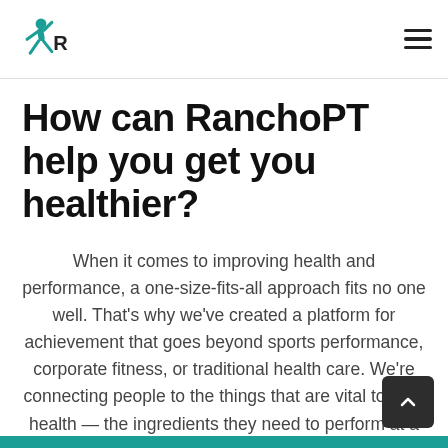RanchoPT logo and navigation menu
How can RanchoPT help you get you healthier?
When it comes to improving health and performance, a one-size-fits-all approach fits no one well. That’s why we’ve created a platform for achievement that goes beyond sports performance, corporate fitness, or traditional health care. We’re connecting people to the things that are vital to their health — the ingredients they need to perform at a high level day after da